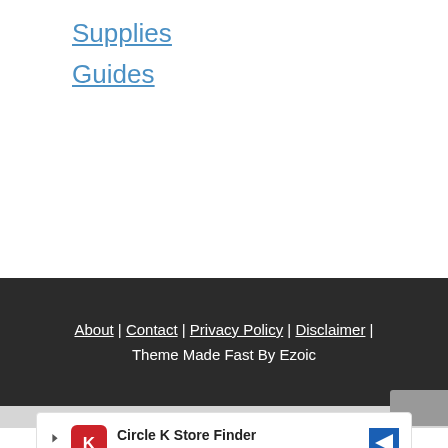Supplies
Guides
About | Contact | Privacy Policy | Disclaimer | Theme Made Fast By Ezoic
[Figure (other): Advertisement banner: Circle K Store Finder - Circle K]